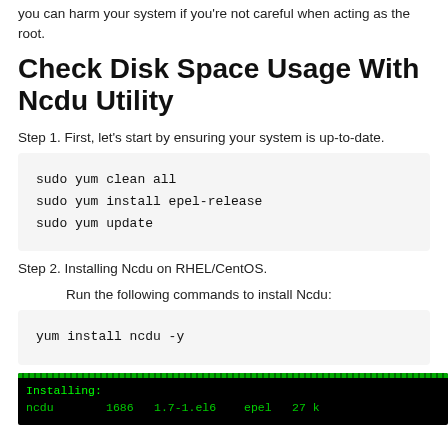you can harm your system if you're not careful when acting as the root.
Check Disk Space Usage With Ncdu Utility
Step 1. First, let's start by ensuring your system is up-to-date.
[Figure (screenshot): Code block showing three commands: sudo yum clean all, sudo yum install epel-release, sudo yum update]
Step 2. Installing Ncdu on RHEL/CentOS.
Run the following commands to install Ncdu:
[Figure (screenshot): Code block showing: yum install ncdu -y]
[Figure (screenshot): Terminal screenshot showing ncdu installation: Installing: ncdu 1686 1.7-1.el6 epel 27 k]